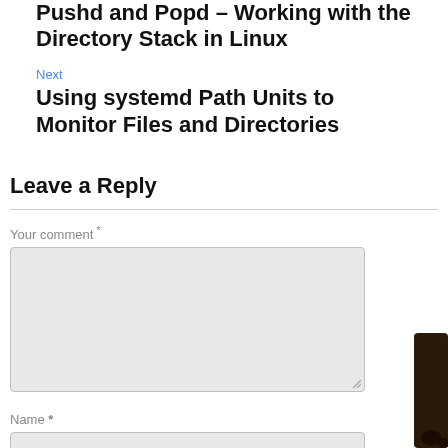Pushd and Popd – Working with the Directory Stack in Linux
Next
Using systemd Path Units to Monitor Files and Directories
Leave a Reply
Your comment *
Name *